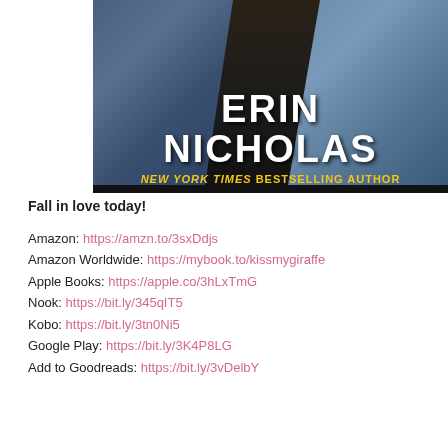[Figure (illustration): Book cover image showing author name ERIN NICHOLAS in large white bold text and subtitle NEW YORK TIMES BESTSELLING AUTHOR in gold italic/bold text, over a dark background with denim/jeans imagery]
Fall in love today!
Amazon: https://amzn.to/3sxDdjs
Amazon Worldwide: https://mybook.to/kissmygiraffe
Apple Books: https://apple.co/3hLxTmG
Nook: https://bit.ly/345qIT5
Kobo: https://bit.ly/3tn0Ni5
Google Play: https://bit.ly/3K4P8LG

Add to Goodreads: https://bit.ly/3vDelbY